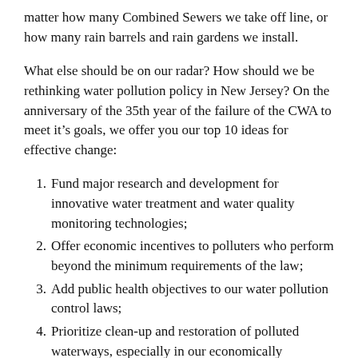matter how many Combined Sewers we take off line, or how many rain barrels and rain gardens we install.
What else should be on our radar? How should we be rethinking water pollution policy in New Jersey? On the anniversary of the 35th year of the failure of the CWA to meet it’s goals, we offer you our top 10 ideas for effective change:
Fund major research and development for innovative water treatment and water quality monitoring technologies;
Offer economic incentives to polluters who perform beyond the minimum requirements of the law;
Add public health objectives to our water pollution control laws;
Prioritize clean-up and restoration of polluted waterways, especially in our economically disadvantaged communities;
Establish concrete targets for achieving...